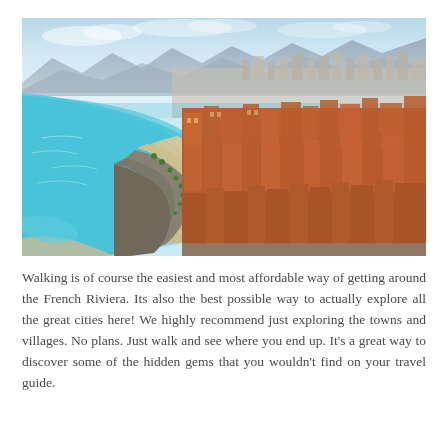[Figure (photo): Aerial photograph of the French Riviera coastline, showing the curved turquoise bay with a sandy beach, the Promenade des Anglais lined with palm trees, and the dense city of Nice with orange-roofed buildings on the right side. Sky with light clouds in the background.]
Walking is of course the easiest and most affordable way of getting around the French Riviera. Its also the best possible way to actually explore all the great cities here! We highly recommend just exploring the towns and villages. No plans. Just walk and see where you end up. It's a great way to discover some of the hidden gems that you wouldn't find on your travel guide.